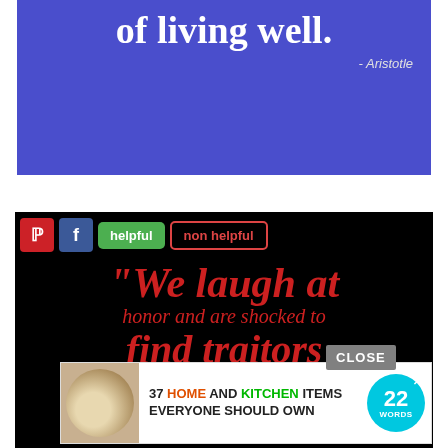[Figure (illustration): Blue banner with white bold text reading 'of living well.' and italic attribution '- Aristotle']
[Figure (screenshot): Black background quote card with red italic serif text reading: 'We laugh at honor and are shocked to find traitors' attributed to C. S. Lewis, with social sharing buttons (Pinterest, Facebook, helpful, non helpful) and an advertisement overlay for '37 Home and Kitchen Items Everyone Should Own']